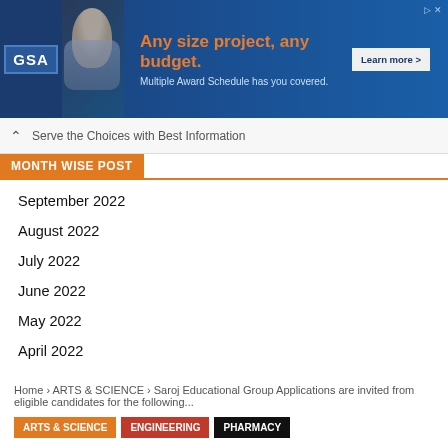[Figure (illustration): GSA advertisement banner: 'Any size project, any budget. Multiple Award Schedule has you covered.' with Learn more button and GSA logo on dark blue background]
Serve the Choices with Best Information
MONTH WISE POST
September 2022
August 2022
July 2022
June 2022
May 2022
April 2022
Home › ARTS & SCIENCE › Saroj Educational Group Applications are invited from eligible candidates for the following...
ARTS & SCIENCE   ENGINEERING   PHARMACY